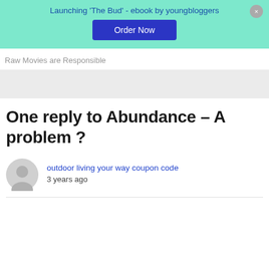[Figure (infographic): Promotional banner with teal/mint background. Text: Launching 'The Bud' - ebook by youngbloggers. Blue 'Order Now' button. Gray close (×) button top right.]
Raw Movies are Responsible
One reply to Abundance – A problem ?
outdoor living your way coupon code
3 years ago